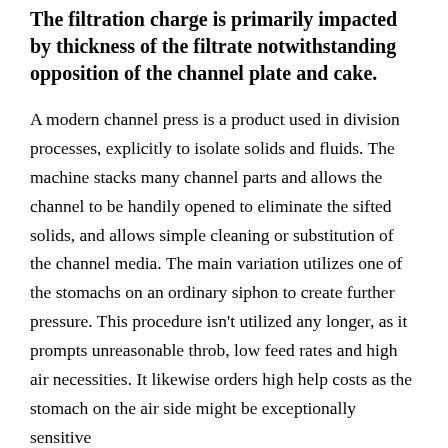The filtration charge is primarily impacted by thickness of the filtrate notwithstanding opposition of the channel plate and cake.
A modern channel press is a product used in division processes, explicitly to isolate solids and fluids. The machine stacks many channel parts and allows the channel to be handily opened to eliminate the sifted solids, and allows simple cleaning or substitution of the channel media. The main variation utilizes one of the stomachs on an ordinary siphon to create further pressure. This procedure isn't utilized any longer, as it prompts unreasonable throb, low feed rates and high air necessities. It likewise orders high help costs as the stomach on the air side might be exceptionally sensitive and be basically continuously...